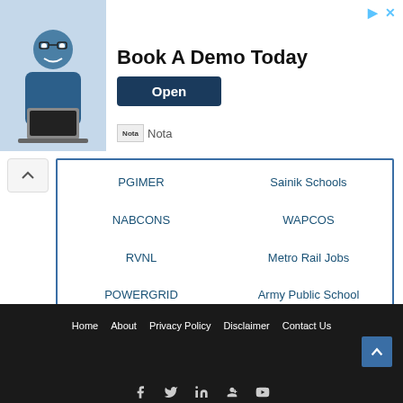[Figure (infographic): Advertisement banner: man with glasses at laptop, text 'Book A Demo Today', Open button, Nota branding]
PGIMER
Sainik Schools
NABCONS
WAPCOS
RVNL
Metro Rail Jobs
POWERGRID
Army Public School
Institute Jobs
University Jobs
Supreme Court
Rajya Sabha
Home  About  Privacy Policy  Disclaimer  Contact Us